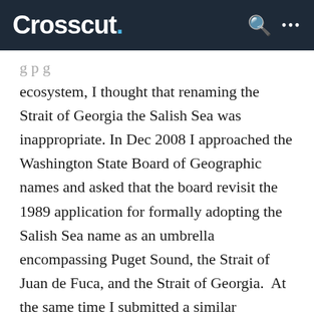Crosscut.
ecosystem, I thought that renaming the Strait of Georgia the Salish Sea was inappropriate. In Dec 2008 I approached the Washington State Board of Geographic names and asked that the board revisit the 1989 application for formally adopting the Salish Sea name as an umbrella encompassing Puget Sound, the Strait of Juan de Fuca, and the Strait of Georgia.  At the same time I submitted a similar application to the Geographical Names Office of the British Columbia government.